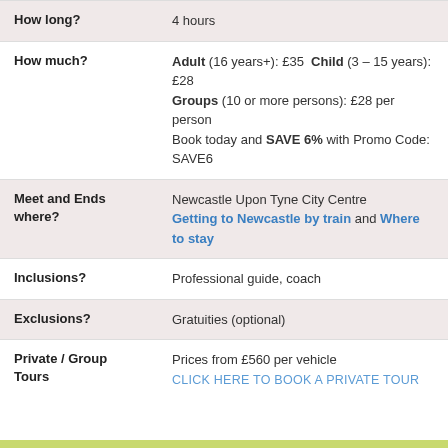| Field | Value |
| --- | --- |
| How long? | 4 hours |
| How much? | Adult (16 years+): £35  Child (3 – 15 years): £28
Groups (10 or more persons): £28 per person
Book today and SAVE 6% with Promo Code: SAVE6 |
| Meet and Ends where? | Newcastle Upon Tyne City Centre
Getting to Newcastle by train and Where to stay |
| Inclusions? | Professional guide, coach |
| Exclusions? | Gratuities (optional) |
| Private / Group Tours | Prices from £560 per vehicle
CLICK HERE TO BOOK A PRIVATE TOUR |